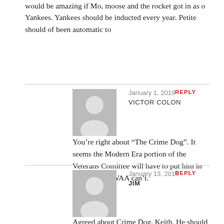would be amazing if Mo, moose and the rocket got in as o Yankees. Yankees should be inducted every year. Petite should of been automatic to
January 1, 2019
VICTOR COLON
REPLY
You’re right about “The Crime Dog”. It seems the Modern Era portion of the Veterans Comittee will have to put him in since the BBWAA can’t.
January 13, 2019
JIM
REPLY
Agreed about Crime Dog, Keith. He should have gotten in already. I just hope this late surge of support will get him noticed by the Today’s Game Era Committee and they’ll do the right thing and vote him in.